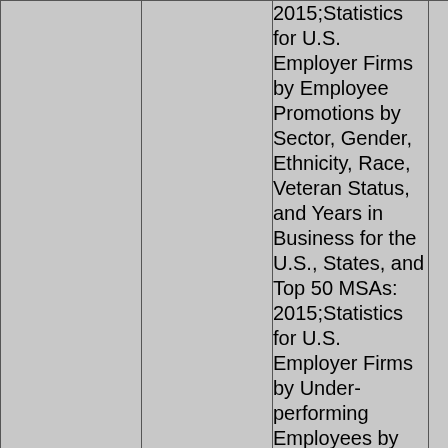|  |  | 2015;Statistics for U.S. Employer Firms by Employee Promotions by Sector, Gender, Ethnicity, Race, Veteran Status, and Years in Business for the U.S., States, and Top 50 MSAs: 2015;Statistics for U.S. Employer Firms by Under-performing Employees by Sector, Gender, Ethnicity, Race, Veteran Status, and Years in Business for the U.S., States, and Top 50 MSAs: 2015;Statistics for U.S. Employer |  |